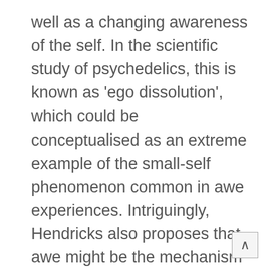well as a changing awareness of the self. In the scientific study of psychedelics, this is known as 'ego dissolution', which could be conceptualised as an extreme example of the small-self phenomenon common in awe experiences. Intriguingly, Hendricks also proposes that awe might be the mechanism that underlies the positive effects caused by psychedelic-assisted psychotherapy. While I can't personally attest to or vouch for or against psychedelic use, this branch of awe research will likely continue to develop as a growing number of municipalities in the US –